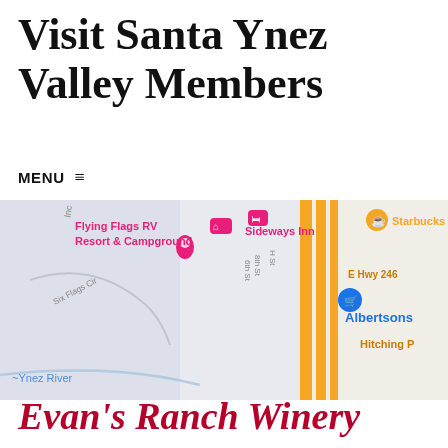Visit Santa Ynez Valley Members
MENU ≡
[Figure (map): Google Maps view showing the area around Flying Flags RV Resort & Campground and Sideways Inn in Buellton, CA. Visible labels include: Flying Flags RV Resort & Campground, Sideways Inn, Starbucks, Albertsons, E Hwy 246, Hitching P, Ynez River, Six Flags Cir, 6th St, 8th St, H St.]
Evan's Ranch Winery